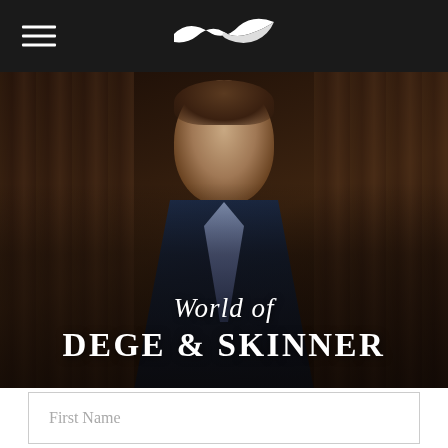[Figure (screenshot): Navigation bar with hamburger menu icon on left and stylized bird/arrow logo centered on dark background]
[Figure (photo): Portrait photograph of a young man in a dark navy checked suit with blue tie and pocket square, set against a dark wood-paneled background. Text overlay reads 'World of DEGE & SKINNER']
World of DEGE & SKINNER
First Name
Last Name